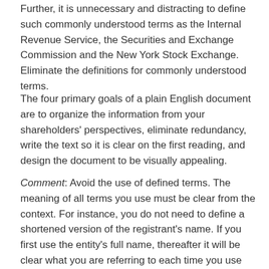Further, it is unnecessary and distracting to define such commonly understood terms as the Internal Revenue Service, the Securities and Exchange Commission and the New York Stock Exchange. Eliminate the definitions for commonly understood terms.
The four primary goals of a plain English document are to organize the information from your shareholders' perspectives, eliminate redundancy, write the text so it is clear on the first reading, and design the document to be visually appealing.
Comment: Avoid the use of defined terms. The meaning of all terms you use must be clear from the context. For instance, you do not need to define a shortened version of the registrant's name. If you first use the entity's full name, thereafter it will be clear what you are referring to each time you use the shortened version.